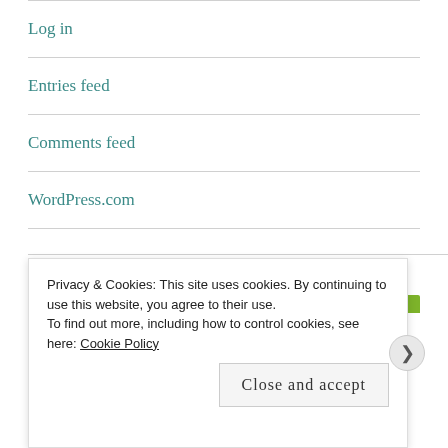Log in
Entries feed
Comments feed
WordPress.com
Spam Blocked
Privacy & Cookies: This site uses cookies. By continuing to use this website, you agree to their use.
To find out more, including how to control cookies, see here: Cookie Policy
Close and accept